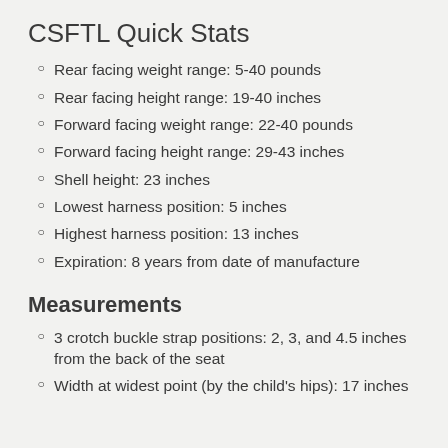CSFTL Quick Stats
Rear facing weight range:  5-40 pounds
Rear facing height range: 19-40 inches
Forward facing weight range: 22-40 pounds
Forward facing height range: 29-43 inches
Shell height: 23 inches
Lowest harness position: 5 inches
Highest harness position: 13 inches
Expiration: 8 years from date of manufacture
Measurements
3 crotch buckle strap positions: 2, 3, and 4.5 inches from the back of the seat
Width at widest point (by the child's hips): 17 inches